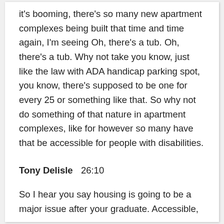it's booming, there's so many new apartment complexes being built that time and time again, I'm seeing Oh, there's a tub. Oh, there's a tub. Why not take you know, just like the law with ADA handicap parking spot, you know, there's supposed to be one for every 25 or something like that. So why not do something of that nature in apartment complexes, like for however so many have that be accessible for people with disabilities.
Tony Delisle  26:10
So I hear you say housing is going to be a major issue after your graduate. Accessible,